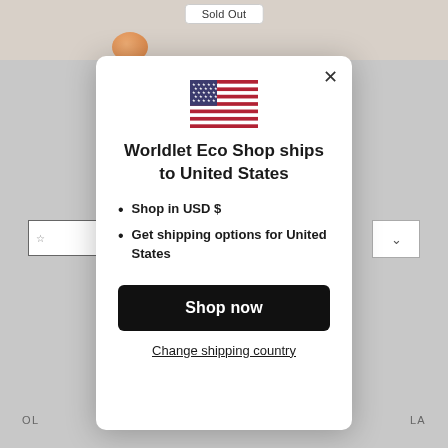[Figure (screenshot): E-commerce website background with 'Sold Out' label, product image, and navigation elements]
Worldlet Eco Shop ships to United States
Shop in USD $
Get shipping options for United States
Shop now
Change shipping country